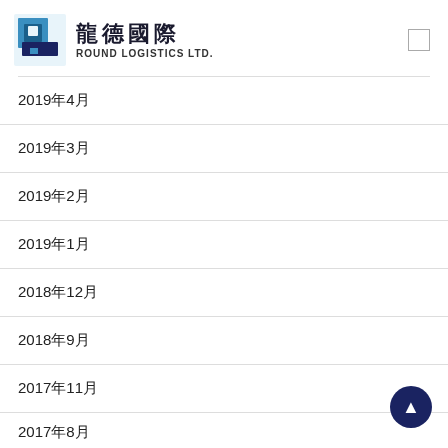[Figure (logo): Round Logistics Ltd. logo with blue square icon and Chinese/English text]
2019年4月
2019年3月
2019年2月
2019年1月
2018年12月
2018年9月
2017年11月
2017年8月